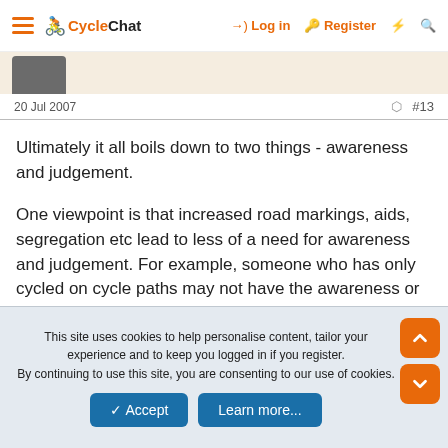CycleChat — Log in | Register
20 Jul 2007 #13
Ultimately it all boils down to two things - awareness and judgement.
One viewpoint is that increased road markings, aids, segregation etc lead to less of a need for awareness and judgement. For example, someone who has only cycled on cycle paths may not have the awareness or judgement required for safe cycling in traffic.
This site uses cookies to help personalise content, tailor your experience and to keep you logged in if you register. By continuing to use this site, you are consenting to our use of cookies.